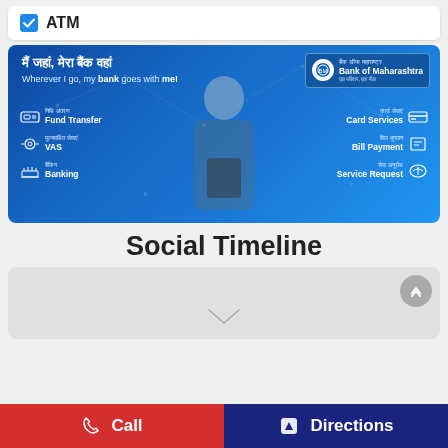ATM
[Figure (photo): Bank of Maharashtra mobile banking app advertisement banner with blue background showing a woman using a smartphone, featuring services: Fund Transfer, Card Services, VAS, Bill Payment, Banking, Service Request]
Social Timeline
[Figure (screenshot): Gray social timeline content area with scroll-to-top button]
Call | Directions